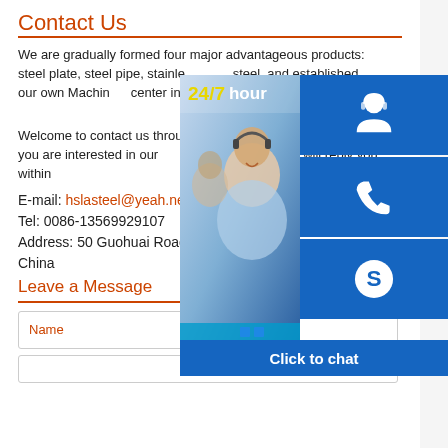Contact Us
We are gradually formed four major advantageous products: steel plate, steel pipe, stainless steel, and established our own Machining center in order to meet customer's dive...
Welcome to contact us through online and hotline if you are interested in our products. Our staff will reply you within...
E-mail: hslasteel@yeah.net
Tel: 0086-13569929107
Address: 50 Guohuai Road, Hena...
China
Leave a Message
[Figure (photo): Customer service representatives with headsets; 24/7 hour support widget with phone and Skype icons; Click to chat button]
Name
(second input field)